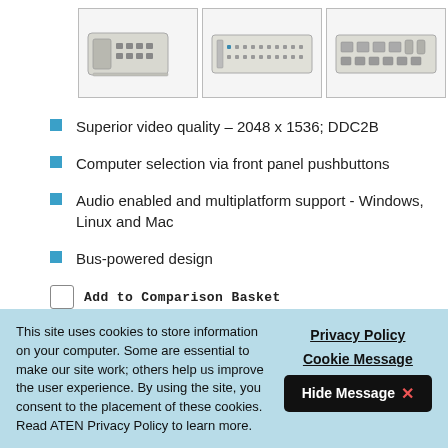[Figure (photo): Three product photos of a KVM switch device shown from different angles: front-left perspective, front face, and rear panel.]
Superior video quality – 2048 x 1536; DDC2B
Computer selection via front panel pushbuttons
Audio enabled and multiplatform support - Windows, Linux and Mac
Bus-powered design
Add to Comparison Basket
[Figure (logo): Circular logo/badge with red and yellow design, partially visible at bottom of page]
This site uses cookies to store information on your computer. Some are essential to make our site work; others help us improve the user experience. By using the site, you consent to the placement of these cookies. Read ATEN Privacy Policy to learn more.
Privacy Policy
Cookie Message
Hide Message ✕